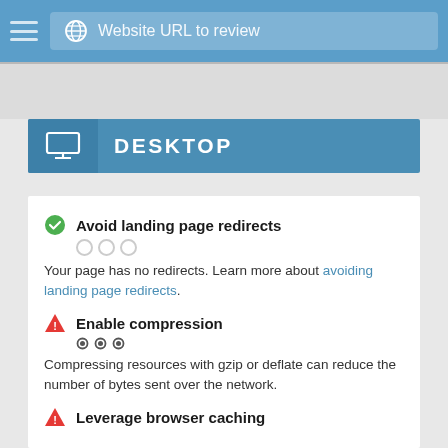Website URL to review
DESKTOP
Avoid landing page redirects
Your page has no redirects. Learn more about avoiding landing page redirects.
Enable compression
Compressing resources with gzip or deflate can reduce the number of bytes sent over the network.
Leverage browser caching